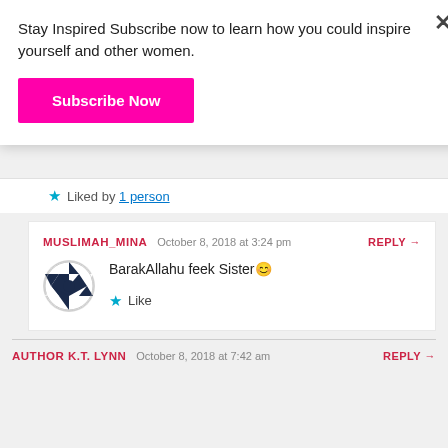Stay Inspired Subscribe now to learn how you could inspire yourself and other women.
[Figure (other): Subscribe Now button (magenta/pink)]
Liked by 1 person
MUSLIMAH_MINA  October 8, 2018 at 3:24 pm  REPLY →
[Figure (other): Avatar: black and white geometric/diamond pattern circular icon]
BarakAllahu feek Sister😊
Like
AUTHOR K.T. LYNN  October 8, 2018 at 7:42 am  REPLY →